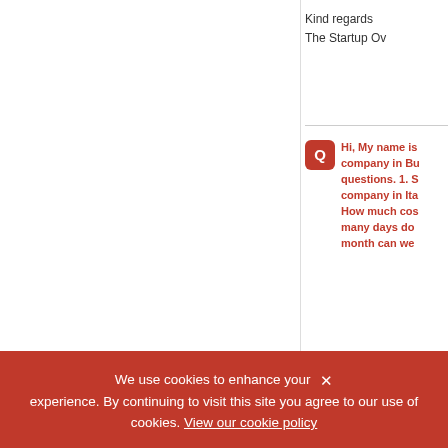Kind regards
The Startup Ov...
Hi, My name is... company in Bu... questions. 1. S... company in Ita... How much cos... many days do... month can we...
06/05/2015
Startup says:
Hello Beck
Thank you for y...
TMF Group http...
group.html
We use cookies to enhance your experience. By continuing to visit this site you agree to our use of cookies. View our cookie policy